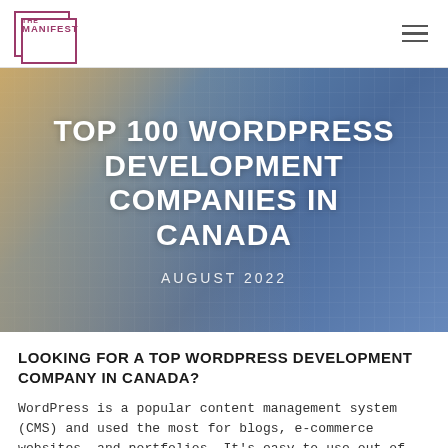THE MANIFEST
[Figure (photo): Person typing on a laptop keyboard, photo with a blue-teal and warm golden color overlay filter, used as a hero background image.]
TOP 100 WORDPRESS DEVELOPMENT COMPANIES IN CANADA
AUGUST 2022
LOOKING FOR A TOP WORDPRESS DEVELOPMENT COMPANY IN CANADA?
WordPress is a popular content management system (CMS) and used the most for blogs, e-commerce websites, and portfolios. It's easy to use out-of-the-box,